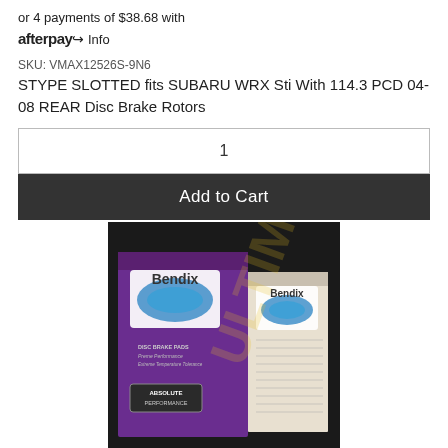or 4 payments of $38.68 with afterpay Info
SKU: VMAX12526S-9N6
STYPE SLOTTED fits SUBARU WRX Sti With 114.3 PCD 04-08 REAR Disc Brake Rotors
1
Add to Cart
[Figure (photo): Photo of Bendix brand disc brake pads box, purple packaging with Bendix logo visible on front and side. Text on box includes: DISC BRAKE PADS, Preme Performance, Extreme Temperature Tolerance, ABSOLUTE PERFORMANCE]